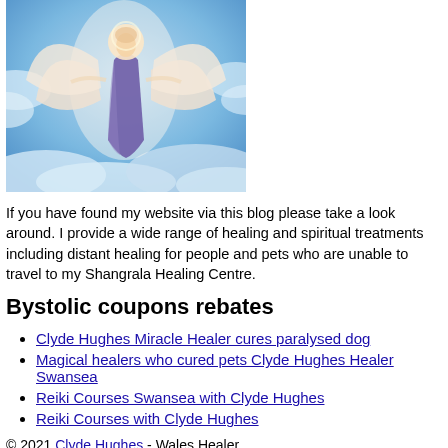[Figure (illustration): Painting of an angel figure ascending through clouds, wearing a flowing purple robe, with wings spread, set against a blue cloudy sky background.]
If you have found my website via this blog please take a look around. I provide a wide range of healing and spiritual treatments including distant healing for people and pets who are unable to travel to my Shangrala Healing Centre.
Bystolic coupons rebates
Clyde Hughes Miracle Healer cures paralysed dog
Magical healers who cured pets Clyde Hughes Healer Swansea
Reiki Courses Swansea with Clyde Hughes
Reiki Courses with Clyde Hughes
© 2021 Clyde Hughes - Wales Healer